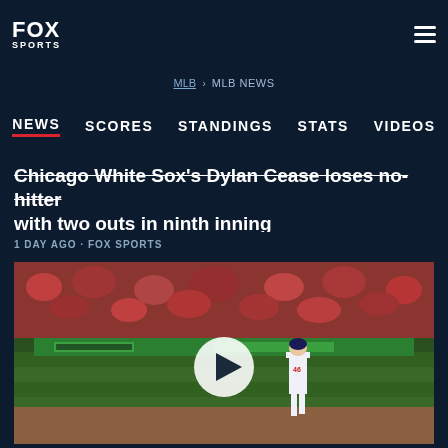FOX SPORTS
MLB > MLB NEWS
NEWS   SCORES   STANDINGS   STATS   VIDEOS
Chicago White Sox's Dylan Cease loses no-hitter with two outs in ninth inning
1 DAY AGO • FOX SPORTS
[Figure (photo): Baseball game photo showing player #46 on field with crowd in background and a video play button overlay]